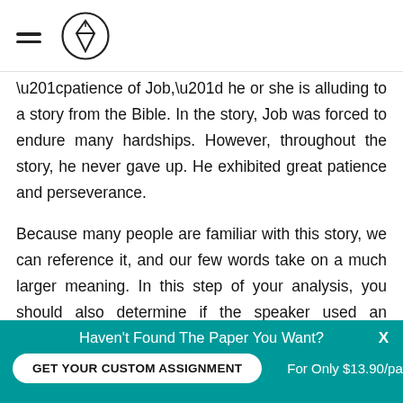[hamburger menu icon] [pencil circle logo]
“patience of Job,” he or she is alluding to a story from the Bible. In the story, Job was forced to endure many hardships. However, throughout the story, he never gave up. He exhibited great patience and perseverance.
Because many people are familiar with this story, we can reference it, and our few words take on a much larger meaning. In this step of your analysis, you should also determine if the speaker used an appropriate amount of relevant information in the speech in addition to the use of allusion. The last sentence is cut off at the bottom.
Haven’t Found The Paper You Want?
GET YOUR CUSTOM ASSIGNMENT
For Only $13.90/page